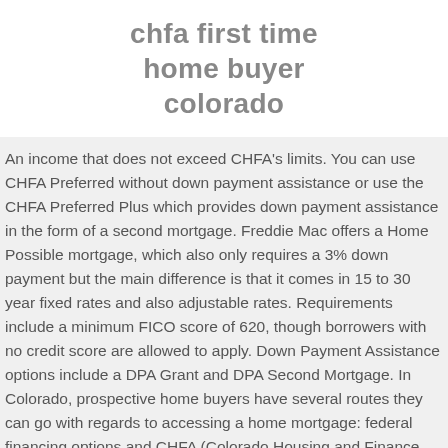chfa first time home buyer colorado
An income that does not exceed CHFA's limits. You can use CHFA Preferred without down payment assistance or use the CHFA Preferred Plus which provides down payment assistance in the form of a second mortgage. Freddie Mac offers a Home Possible mortgage, which also only requires a 3% down payment but the main difference is that it comes in 15 to 30 year fixed rates and also adjustable rates. Requirements include a minimum FICO score of 620, though borrowers with no credit score are allowed to apply. Down Payment Assistance options include a DPA Grant and DPA Second Mortgage. In Colorado, prospective home buyers have several routes they can go with regards to accessing a home mortgage: federal financing options and CHFA (Colorado Housing and Finance Authority). This information may be different than what you see when you visit a financial institution, service provider